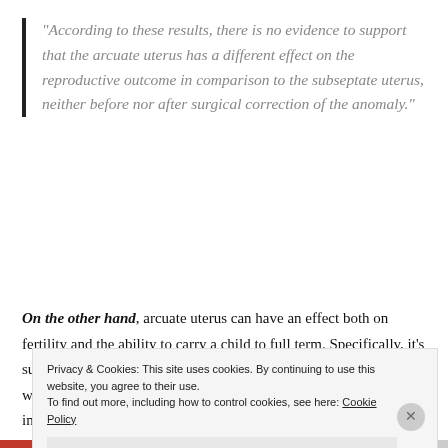“According to these results, there is no evidence to support that the arcuate uterus has a different effect on the reproductive outcome in comparison to the subseptate uterus, neither before nor after surgical correction of the anomaly.”
On the other hand, arcuate uterus can have an effect both on fertility and the ability to carry a child to full term. Specifically, it’s suspected of contributing to second trimester miscarriages. Some websites say arcuate uterus is common, others say it only shows up in 3 – 4% of patients
Privacy & Cookies: This site uses cookies. By continuing to use this website, you agree to their use.
To find out more, including how to control cookies, see here: Cookie Policy
Close and accept